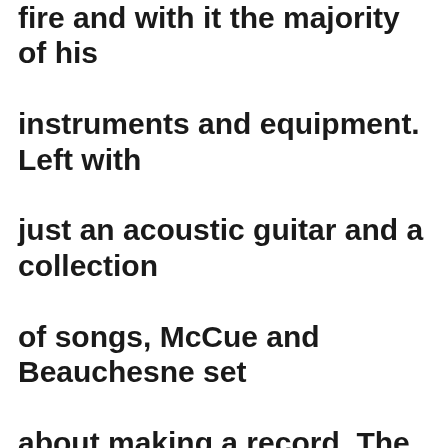fire and with it the majority of his instruments and equipment. Left with just an acoustic guitar and a collection of songs, McCue and Beauchesne set about making a record. The result was a digitally released album titled “Sean & Michelle” that came out at the end